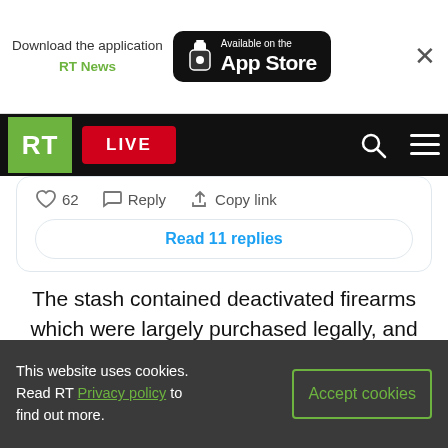[Figure (screenshot): App download banner with 'Download the application RT News' text and an App Store badge on a black rounded rectangle. Close X button on right.]
[Figure (screenshot): RT news website navigation bar with green RT logo, red LIVE button, search icon, and hamburger menu on black background.]
62  Reply  Copy link
Read 11 replies
The stash contained deactivated firearms which were largely purchased legally, and were later reactivated. Firearms found at the scene were ready to be repaired and transformed back into working weapons.
[Figure (screenshot): Europol Twitter card header showing Europol logo, name with blue verified checkmark, and Twitter bird icon.]
This website uses cookies. Read RT Privacy policy to find out more.